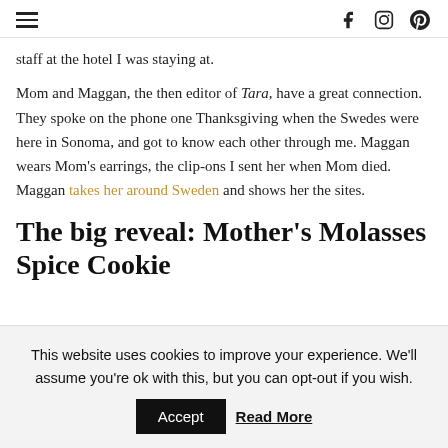≡  f  ⓘ  p
staff at the hotel I was staying at.
Mom and Maggan, the then editor of Tara, have a great connection. They spoke on the phone one Thanksgiving when the Swedes were here in Sonoma, and got to know each other through me. Maggan wears Mom's earrings, the clip-ons I sent her when Mom died. Maggan takes her around Sweden and shows her the sites.
The big reveal: Mother's Molasses Spice Cookie
This website uses cookies to improve your experience. We'll assume you're ok with this, but you can opt-out if you wish. Accept Read More